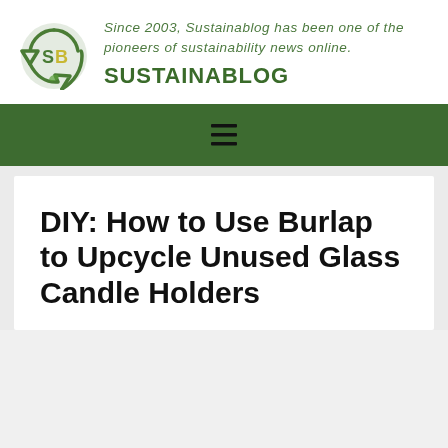[Figure (logo): Sustainablog green recycling-themed logo mark with 'SB' letters and leaf elements]
Since 2003, Sustainablog has been one of the pioneers of sustainability news online.
SUSTAINABLOG
[Figure (other): Hamburger menu icon (three horizontal lines) on dark green navigation bar]
DIY: How to Use Burlap to Upcycle Unused Glass Candle Holders